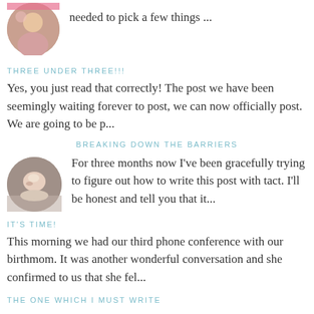needed to pick a few things ...
THREE UNDER THREE!!!
Yes, you just read that correctly! The post we have been seemingly waiting forever to post, we can now officially post. We are going to be p...
BREAKING DOWN THE BARRIERS
For three months now I've been gracefully trying to figure out how to write this post with tact. I'll be honest and tell you that it...
IT'S TIME!
This morning we had our third phone conference with our birthmom. It was another wonderful conversation and she confirmed to us that she fel...
THE ONE WHICH I MUST WRITE